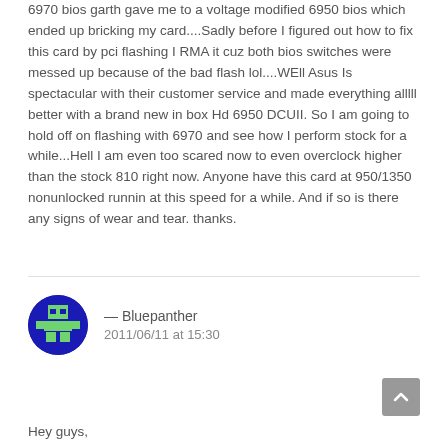6970 bios garth gave me to a voltage modified 6950 bios which ended up bricking my card....Sadly before I figured out how to fix this card by pci flashing I RMA it cuz both bios switches were messed up because of the bad flash lol....WEll Asus Is spectacular with their customer service and made everything alllll better with a brand new in box Hd 6950 DCUII. So I am going to hold off on flashing with 6970 and see how I perform stock for a while...Hell I am even too scared now to even overclock higher than the stock 810 right now. Anyone have this card at 950/1350 nonunlocked runnin at this speed for a while. And if so is there any signs of wear and tear. thanks.
— Bluepanther
2011/06/11 at 15:30
Hey guys,